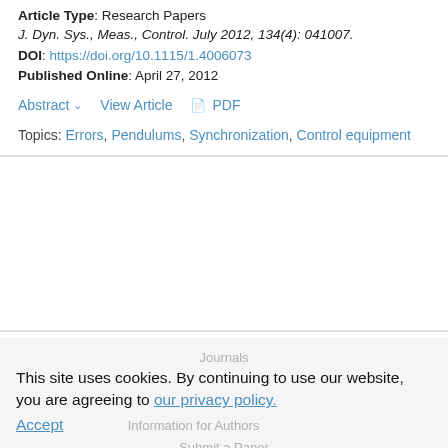Article Type: Research Papers
J. Dyn. Sys., Meas., Control. July 2012, 134(4): 041007.
DOI: https://doi.org/10.1115/1.4006073
Published Online: April 27, 2012
Abstract  View Article  PDF
Topics: Errors, Pendulums, Synchronization, Control equipment
Journals
This site uses cookies. By continuing to use our website, you are agreeing to our privacy policy. Accept
Information for Authors
Submit a Paper